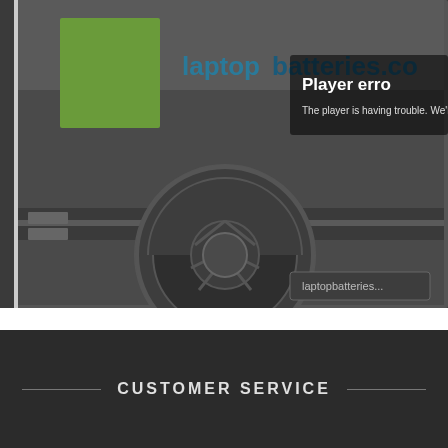[Figure (screenshot): Screenshot of a video player error overlay on the laptopbatteries.co.uk website. The video player shows a 'Player error' message with text 'The player is having trouble. We'll have it back u...' overlaid on a dark background showing a laptop battery illustration with a green rectangle logo element and circular gear/wheel icon. A small branded button with 'laptopbatteries...' text appears in the lower right.]
CUSTOMER SERVICE